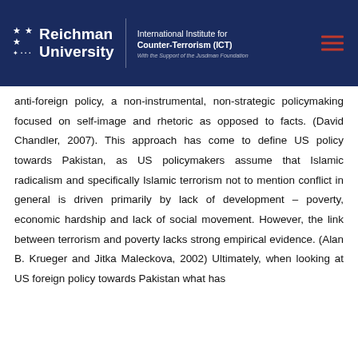Reichman University — International Institute for Counter-Terrorism (ICT) — With the Support of the Jusdman Foundation
anti-foreign policy, a non-instrumental, non-strategic policymaking focused on self-image and rhetoric as opposed to facts. (David Chandler, 2007). This approach has come to define US policy towards Pakistan, as US policymakers assume that Islamic radicalism and specifically Islamic terrorism not to mention conflict in general is driven primarily by lack of development – poverty, economic hardship and lack of social movement. However, the link between terrorism and poverty lacks strong empirical evidence. (Alan B. Krueger and Jitka Maleckova, 2002) Ultimately, when looking at US foreign policy towards Pakistan what has